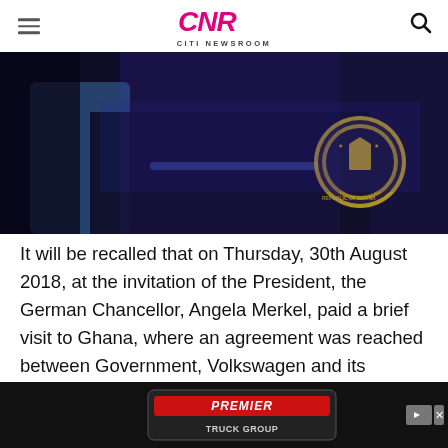CNR CITI NEWSROOM
[Figure (photo): Dark nighttime photo showing a person in a light blue shirt next to a dark vehicle bearing the Ghana Presidency emblem/seal on its door.]
It will be recalled that on Thursday, 30th August 2018, at the invitation of the President, the German Chancellor, Angela Merkel, paid a brief visit to Ghana, where an agreement was reached between Government, Volkswagen and its Ghanaian partner for the assembly, and, ultimately, the production of VW vehicles in the country.
[Figure (other): Advertisement banner for Premier Truck Group on a dark background.]